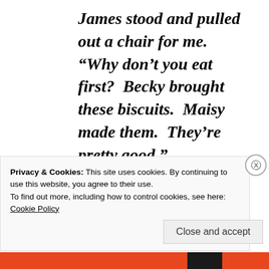James stood and pulled out a chair for me.  “Why don’t you eat first?  Becky brought these biscuits.  Maisy made them.  They’re pretty good.”
“Are they as good as mine?”  I’d meant it as a joke, but I realized it hadn’t sounded like one.
I slid into the offered chair as
Privacy & Cookies: This site uses cookies. By continuing to use this website, you agree to their use.
To find out more, including how to control cookies, see here:
Cookie Policy
Close and accept